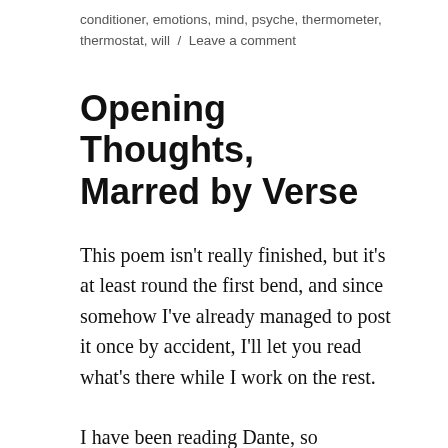conditioner, emotions, mind, psyche, thermometer, thermostat, will / Leave a comment
Opening Thoughts, Marred by Verse
This poem isn't really finished, but it's at least round the first bend, and since somehow I've already managed to post it once by accident, I'll let you read what's there while I work on the rest.
I have been reading Dante, so
Forgive me, if you may,
The way that I am strewing all